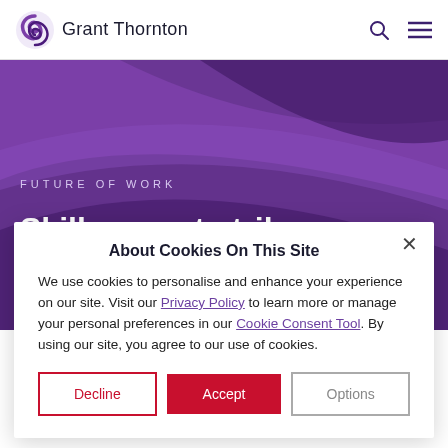Grant Thornton
[Figure (illustration): Purple hero banner with swirling abstract ribbon design in darker purple tones]
FUTURE OF WORK
Skills report strikes a balance for the future of
About Cookies On This Site
We use cookies to personalise and enhance your experience on our site. Visit our Privacy Policy to learn more or manage your personal preferences in our Cookie Consent Tool. By using our site, you agree to our use of cookies.